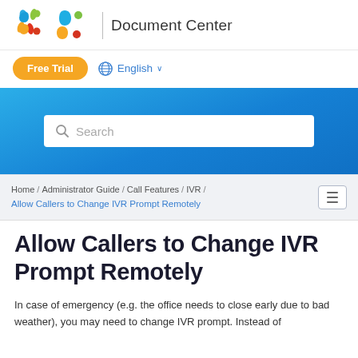Yeastar | Document Center
Free Trial   English
[Figure (screenshot): Blue gradient search banner with a white search box containing placeholder text 'Search' and a search icon]
Home / Administrator Guide / Call Features / IVR / Allow Callers to Change IVR Prompt Remotely
Allow Callers to Change IVR Prompt Remotely
In case of emergency (e.g. the office needs to close early due to bad weather), you may need to change IVR prompt. Instead of